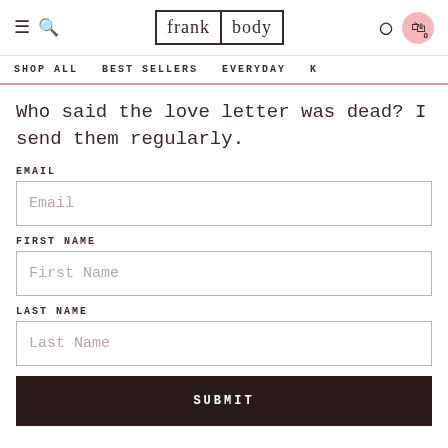frank body
SHOP ALL   BEST SELLERS   EVERYDAY   K
Who said the love letter was dead? I send them regularly.
EMAIL
Email
FIRST NAME
First Name
LAST NAME
Last Name
SUBMIT